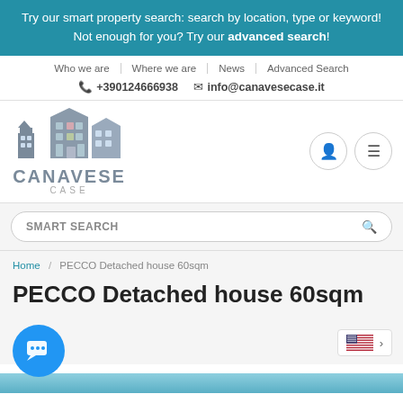Try our smart property search: search by location, type or keyword! Not enough for you? Try our advanced search!
Who we are | Where we are | News | Advanced Search
+390124666938  info@canavesecase.it
[Figure (logo): Canavese Case logo with stylized house buildings icon and text 'CANAVESE CASE']
SMART SEARCH
Home / PECCO Detached house 60sqm
PECCO Detached house 60sqm
[Figure (illustration): Blue circular chat/messaging button with speech bubble icon]
[Figure (illustration): US flag language selector with chevron arrow]